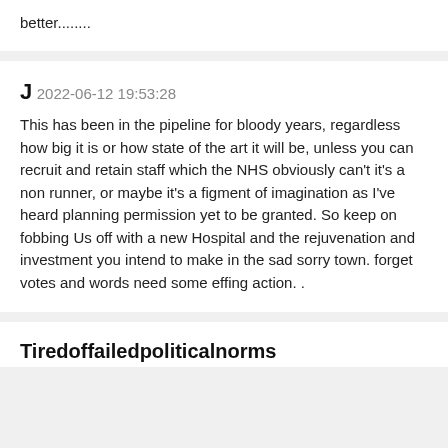better........
J
2022-06-12 19:53:28
This has been in the pipeline for bloody years, regardless how big it is or how state of the art it will be, unless you can recruit and retain staff which the NHS obviously can't it's a non runner, or maybe it's a figment of imagination as I've heard planning permission yet to be granted. So keep on fobbing Us off with a new Hospital and the rejuvenation and investment you intend to make in the sad sorry town. forget votes and words need some effing action. .
Tiredoffailedpoliticalnorms